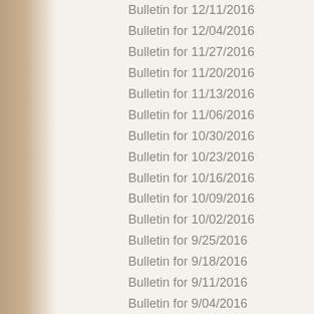Bulletin for 12/11/2016
Bulletin for 12/04/2016
Bulletin for 11/27/2016
Bulletin for 11/20/2016
Bulletin for 11/13/2016
Bulletin for 11/06/2016
Bulletin for 10/30/2016
Bulletin for 10/23/2016
Bulletin for 10/16/2016
Bulletin for 10/09/2016
Bulletin for 10/02/2016
Bulletin for 9/25/2016
Bulletin for 9/18/2016
Bulletin for 9/11/2016
Bulletin for 9/04/2016
Bulletin for 8/28/2016
Bulletin for 8/21/2016
Bulletin for 8/14/2016
Bulletin for 8/07/2016
Bulletin for 7/31/2016
Bulletin for 7/24/2016
Bulletin for 7/17/2016
Bulletin for 7/10/2016
Bulletin for 7/03/2016